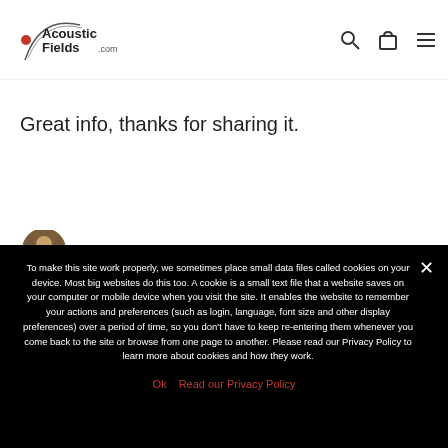Acoustic Fields .com
Great info, thanks for sharing it.
To make this site work properly, we sometimes place small data files called cookies on your device. Most big websites do this too. A cookie is a small text file that a website saves on your computer or mobile device when you visit the site. It enables the website to remember your actions and preferences (such as login, language, font size and other display preferences) over a period of time, so you don’t have to keep re-entering them whenever you come back to the site or browse from one page to another. Please read our Privacy Policy to learn more about cookies and how they work.
Ok   Read our Privacy Policy